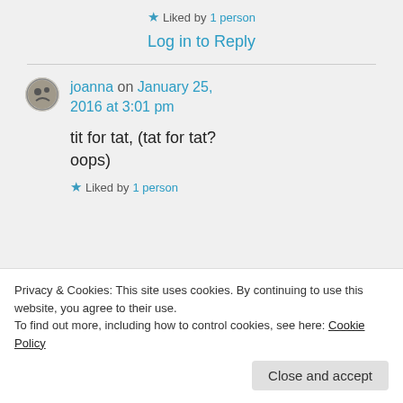★ Liked by 1 person
Log in to Reply
joanna on January 25, 2016 at 3:01 pm
tit for tat, (tat for tat?
oops)
★ Liked by 1 person
Privacy & Cookies: This site uses cookies. By continuing to use this website, you agree to their use.
To find out more, including how to control cookies, see here: Cookie Policy
Close and accept